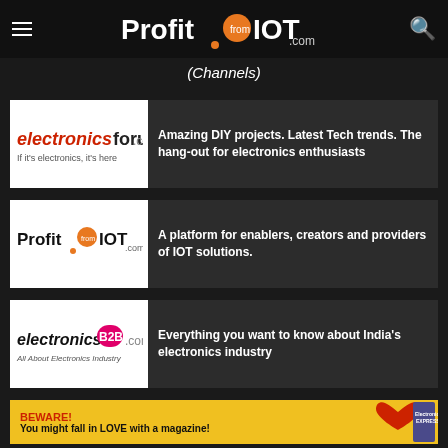Profit from IOT .com
(Channels)
[Figure (logo): electronicsforu.com logo — 'If it's electronics, it's here']
Amazing DIY projects. Latest Tech trends. The hang-out for electronics enthusiasts
[Figure (logo): ProfitfromIOT.com logo]
A platform for enablers, creators and providers of IOT solutions.
[Figure (logo): electronicsB2B.com logo — 'All About Electronics Industry']
Everything you want to know about India's electronics industry
[Figure (infographic): Yellow banner: BEWARE! You might fall in LOVE with a magazine! with a red heart graphic and Electronics Express magazine]